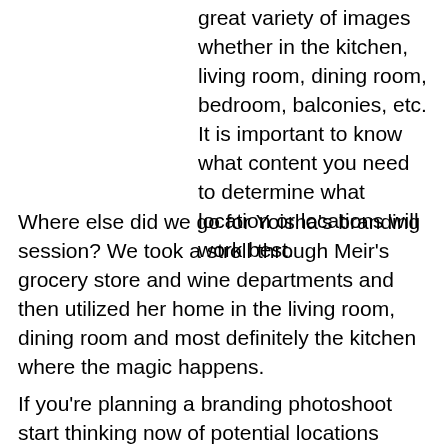great variety of images whether in the kitchen, living room, dining room, bedroom, balconies, etc. It is important to know what content you need to determine what location or locations will work best.
Where else did we go for Yoisha's branding session? We took a stroll through Meir's grocery store and wine departments and then utilized her home in the living room, dining room and most definitely the kitchen where the magic happens.
If you're planning a branding photoshoot start thinking now of potential locations